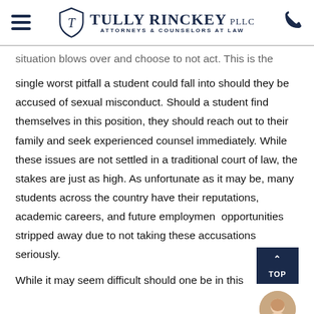Tully Rinckey PLLC — Attorneys & Counselors at Law
situation blows over and choose to not act. This is the single worst pitfall a student could fall into should they be accused of sexual misconduct. Should a student find themselves in this position, they should reach out to their family and seek experienced counsel immediately. While these issues are not settled in a traditional court of law, the stakes are just as high. As unfortunate as it may be, many students across the country have their reputations, academic careers, and future employment opportunities stripped away due to not taking these accusations seriously.
While it may seem difficult should one be in this